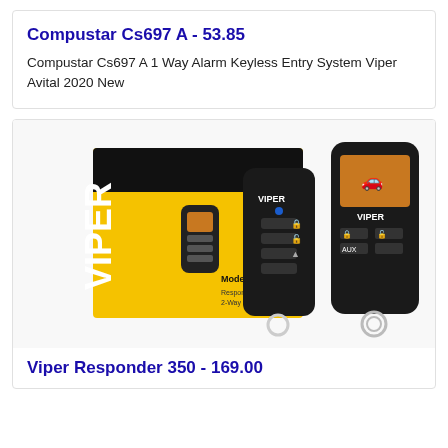Compustar Cs697 A - 53.85
Compustar Cs697 A 1 Way Alarm Keyless Entry System Viper Avital 2020 New
[Figure (photo): Viper Responder 350 car alarm remote starter system showing product box and two remote fobs against white background]
Viper Responder 350 - 169.00